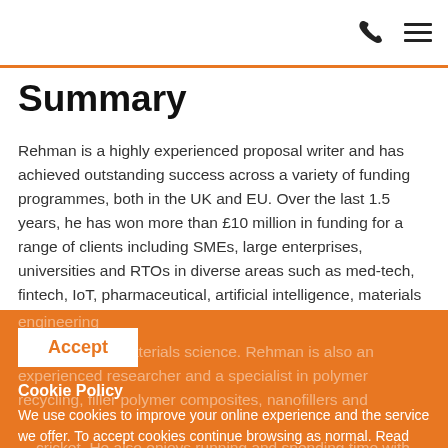[phone icon] [menu icon]
Summary
Rehman is a highly experienced proposal writer and has achieved outstanding success across a variety of funding programmes, both in the UK and EU. Over the last 1.5 years, he has won more than £10 million in funding for a range of clients including SMEs, large enterprises, universities and RTOs in diverse areas such as med-tech, fintech, IoT, pharmaceutical, artificial intelligence, materials science, chemical engineering, construction and mechanical engineering
materials science. Rehman is also an experienced researcher and a specialist in polymer recycling, filler polymer composites, nanofillers and
Accept
Cookie Policy
We use cookies to improve your online experience and the service we offer. To accept cookies continue browsing as normal. Read our cookies policy for more information.
cricket. He also enjoys running and spending time with his family.